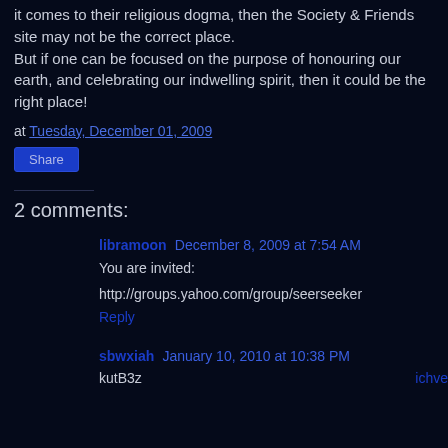it comes to their religious dogma, then the Society & Friends site may not be the correct place.
But if one can be focused on the purpose of honouring our earth, and celebrating our indwelling spirit, then it could be the right place!
at Tuesday, December 01, 2009
Share
2 comments:
libramoon December 8, 2009 at 7:54 AM
You are invited:
http://groups.yahoo.com/group/seerseeker
Reply
sbwxiah January 10, 2010 at 10:38 PM
kutB3z
ichveemoditis,